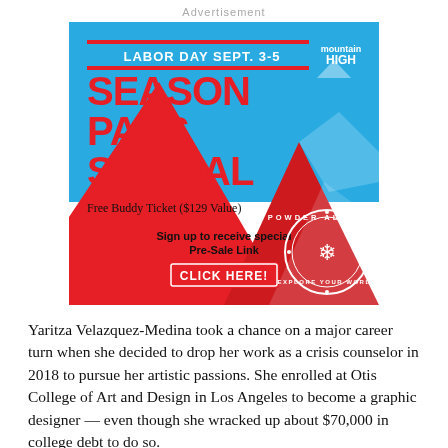Advertisement
[Figure (infographic): Mountain High ski resort advertisement for Labor Day Season Pass Special, Sept. 3-5. Shows red mountain graphic with blue sky, 'SEASON PASS SPECIAL' in large red text, 'Free Buddy Ticket ($129 Value)', 'Sign up to receive special Pre-Sale Link', 'CLICK HERE!' button, Mountain High logo, and Powder Alliance badge.]
Yaritza Velazquez-Medina took a chance on a major career turn when she decided to drop her work as a crisis counselor in 2018 to pursue her artistic passions. She enrolled at Otis College of Art and Design in Los Angeles to become a graphic designer — even though she wracked up about $70,000 in college debt to do so.